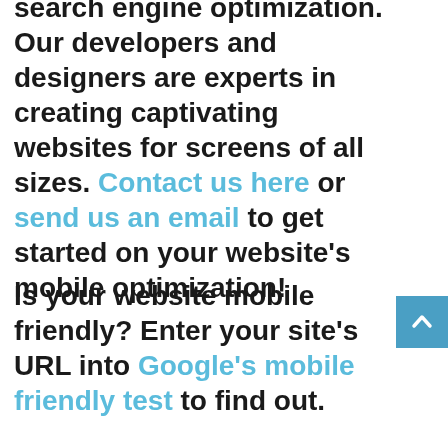search engine optimization. Our developers and designers are experts in creating captivating websites for screens of all sizes. Contact us here or send us an email to get started on your website's mobile optimization!
Is your website mobile friendly? Enter your site's URL into Google's mobile friendly test to find out.